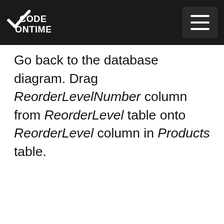Code On Time
Go back to the database diagram. Drag ReorderLevelNumber column from ReorderLevel table onto ReorderLevel column in Products table.